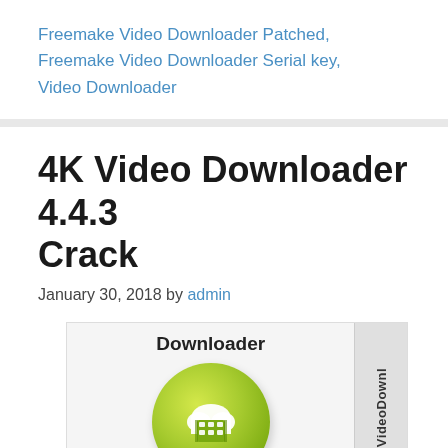Freemake Video Downloader Patched, Freemake Video Downloader Serial key, Video Downloader
4K Video Downloader 4.4.3 Crack
January 30, 2018 by admin
[Figure (illustration): 4K Video Downloader application icon showing a green circular button with a white cloud and film strip icon, labeled 'Downloader', with a vertical spine/side panel showing 'VideoDownl...' text]